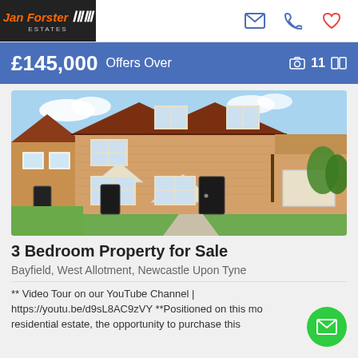Jan Forster Estates
£145,000 Offers Over  📷 11
[Figure (photo): Front exterior photo of a 3-bedroom semi-detached brick house with white-framed windows, black front door, pitched roof with tiles, front garden with lawn, and driveway. Neighbouring properties visible on left and right. Blue sky with clouds.]
3 Bedroom Property for Sale
Bayfield, West Allotment, Newcastle Upon Tyne
** Video Tour on our YouTube Channel | https://youtu.be/d9sL8AC9zVY **Positioned on this modern residential estate, the opportunity to purchase this